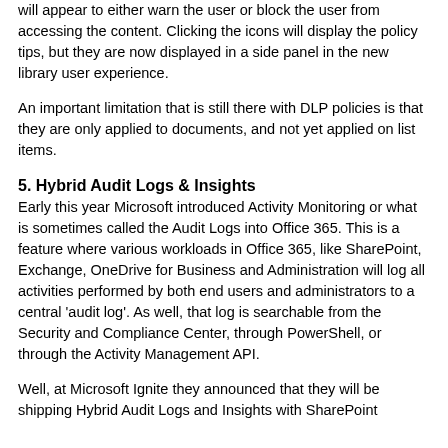will appear to either warn the user or block the user from accessing the content.  Clicking the icons will display the policy tips, but they are now displayed in a side panel in the new library user experience.
An important limitation that is still there with DLP policies is that they are only applied to documents, and not yet applied on list items.
5. Hybrid Audit Logs & Insights
Early this year Microsoft introduced Activity Monitoring or what is sometimes called the Audit Logs into Office 365.  This is a feature where various workloads in Office 365, like SharePoint, Exchange, OneDrive for Business and Administration will log all activities performed by both end users and administrators to a central 'audit log'.  As well, that log is searchable from the Security and Compliance Center, through PowerShell, or through the Activity Management API.
Well, at Microsoft Ignite they announced that they will be shipping Hybrid Audit Logs and Insights with SharePoint